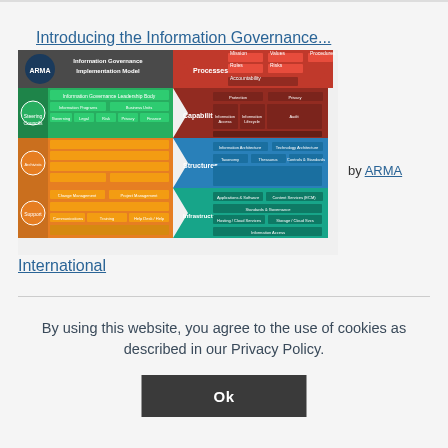Introducing the Information Governance...
[Figure (infographic): ARMA Information Governance Implementation Model diagram showing colored blocks for Processes (red), Capabilities (dark red), Structures (blue), Infrastructure (teal), Steering Councils (green), Archivists (orange), Support (orange) sections with sub-components]
by ARMA International
By using this website, you agree to the use of cookies as described in our Privacy Policy.
Ok